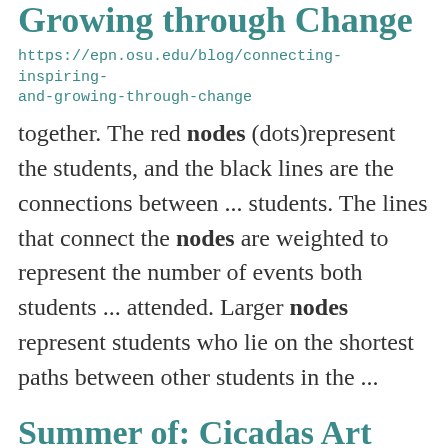Connecting, Inspiring, and Growing through Change
https://epn.osu.edu/blog/connecting-inspiring-and-growing-through-change
together. The red nodes (dots)represent the students, and the black lines are the connections between ... students. The lines that connect the nodes are weighted to represent the number of events both students ... attended. Larger nodes represent students who lie on the shortest paths between other students in the ...
Summer of: Cicadas Art Project
https://hamilton.osu.edu/news/summer-cicadas